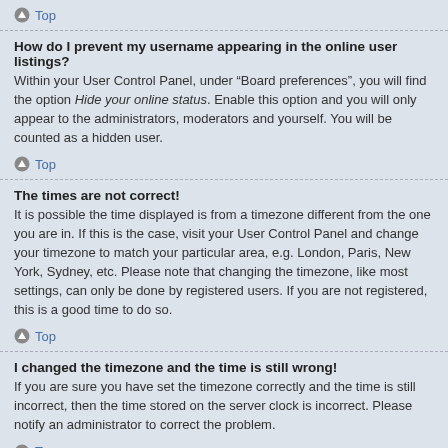Top
How do I prevent my username appearing in the online user listings?
Within your User Control Panel, under “Board preferences”, you will find the option Hide your online status. Enable this option and you will only appear to the administrators, moderators and yourself. You will be counted as a hidden user.
Top
The times are not correct!
It is possible the time displayed is from a timezone different from the one you are in. If this is the case, visit your User Control Panel and change your timezone to match your particular area, e.g. London, Paris, New York, Sydney, etc. Please note that changing the timezone, like most settings, can only be done by registered users. If you are not registered, this is a good time to do so.
Top
I changed the timezone and the time is still wrong!
If you are sure you have set the timezone correctly and the time is still incorrect, then the time stored on the server clock is incorrect. Please notify an administrator to correct the problem.
Top